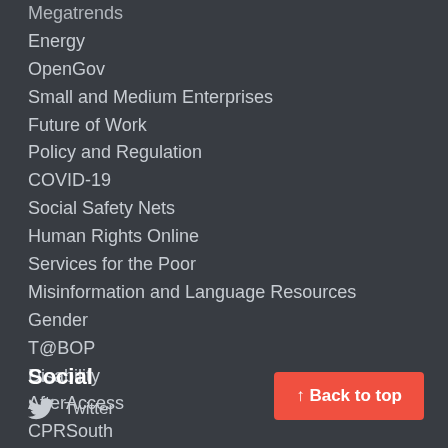Megatrends
Energy
OpenGov
Small and Medium Enterprises
Future of Work
Policy and Regulation
COVID-19
Social Safety Nets
Human Rights Online
Services for the Poor
Misinformation and Language Resources
Gender
T@BOP
Disability
AfterAccess
CPRSouth
Social
Twitter